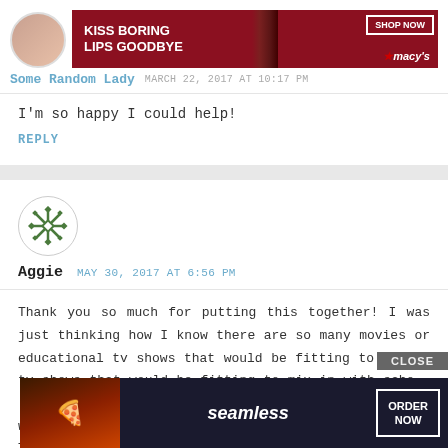[Figure (screenshot): Macy's advertisement banner: red background with text 'KISS BORING LIPS GOODBYE', image of woman's face with red lips, 'SHOP NOW' button and Macy's star logo]
Some Random Lady   MARCH 22, 2017 AT 10:17 PM
I'm so happy I could help!
REPLY
[Figure (illustration): Green snowflake/asterisk avatar icon for commenter Aggie]
Aggie   MAY 30, 2017 AT 6:56 PM
Thank you so much for putting this together! I was just thinking how I know there are so many movies or educational tv shows that would be fitting to mix in with school but where that. This i
[Figure (screenshot): Seamless food delivery advertisement: pizza image on left, 'seamless' logo in center, 'ORDER NOW' button on right, 'CLOSE' button at top right]
CLOSE
ORDER NOW